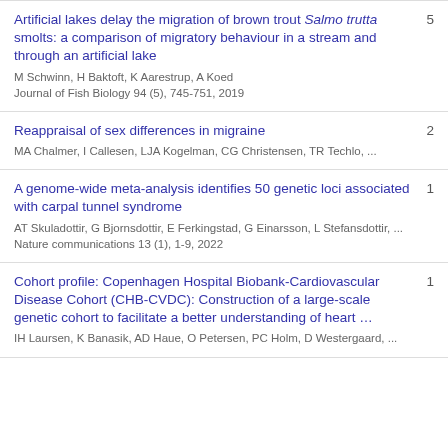Artificial lakes delay the migration of brown trout Salmo trutta smolts: a comparison of migratory behaviour in a stream and through an artificial lake
M Schwinn, H Baktoft, K Aarestrup, A Koed
Journal of Fish Biology 94 (5), 745-751, 2019
5
Reappraisal of sex differences in migraine
MA Chalmer, I Callesen, LJA Kogelman, CG Christensen, TR Techlo, ...
2
A genome-wide meta-analysis identifies 50 genetic loci associated with carpal tunnel syndrome
AT Skuladottir, G Bjornsdottir, E Ferkingstad, G Einarsson, L Stefansdottir, ...
Nature communications 13 (1), 1-9, 2022
1
Cohort profile: Copenhagen Hospital Biobank-Cardiovascular Disease Cohort (CHB-CVDC): Construction of a large-scale genetic cohort to facilitate a better understanding of heart ...
IH Laursen, K Banasik, AD Haue, O Petersen, PC Holm, D Westergaard, ...
1